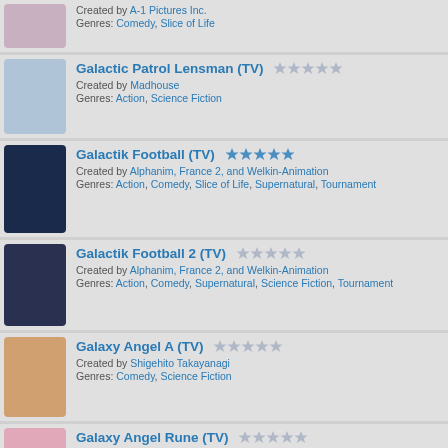Created by A-1 Pictures Inc. Genres: Comedy, Slice of Life
Galactic Patrol Lensman (TV) ★☆☆☆☆ Created by Madhouse Genres: Action, Science Fiction
Galactik Football (TV) ★★★★★ Created by Alphanim, France 2, and Welkin-Animation Genres: Action, Comedy, Slice of Life, Supernatural, Tournament
Galactik Football 2 (TV) ★☆☆☆☆ Created by Alphanim, France 2, and Welkin-Animation Genres: Action, Comedy, Supernatural, Science Fiction, Tournament
Galaxy Angel A (TV) ★☆☆☆☆ Created by Shigehito Takayanagi Genres: Comedy, Science Fiction
Galaxy Angel Rune (TV) ★☆☆☆☆ Created by Bandai Visual